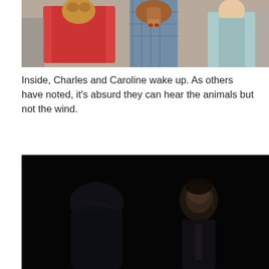[Figure (photo): A humorous meme-style photo showing three people on a street. The figures have animal heads photoshopped onto human bodies: a woman in a red dress with an animal head on the left, a man in a plaid shirt with a horse head in the center looking toward a woman in a light blue top on the right. The background shows a blurred street scene with other people.]
Inside, Charles and Caroline wake up. As others have noted, it’s absurd they can hear the animals but not the wind.
[Figure (photo): A dark, moody screenshot from what appears to be a film or TV show. Two figures are visible in low light: one person seen from behind on the left, and a young man with styled hair facing the camera on the right, wearing a suit or formal attire. The scene is very dimly lit with deep shadows.]